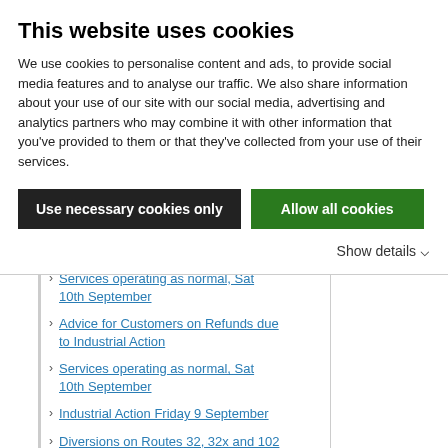This website uses cookies
We use cookies to personalise content and ads, to provide social media features and to analyse our traffic. We also share information about your use of our site with our social media, advertising and analytics partners who may combine it with other information that you've provided to them or that they've collected from your use of their services.
Use necessary cookies only
Allow all cookies
Show details
Services operating as normal, Sat 10th September
Advice for Customers on Refunds due to Industrial Action
Services operating as normal, Sat 10th September
Industrial Action Friday 9 September
Diversions on Routes 32, 32x and 102
Industrial Action Thursday 8 and Friday 9 September
Route 40
Service Announcement